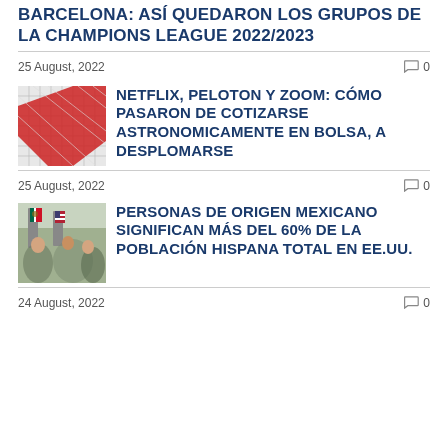BARCELONA: ASÍ QUEDARON LOS GRUPOS DE LA CHAMPIONS LEAGUE 2022/2023
25 August, 2022   💬 0
[Figure (photo): Abstract grid/mesh image with red diagonal stripe]
NETFLIX, PELOTON Y ZOOM: CÓMO PASARON DE COTIZARSE ASTRONOMICAMENTE EN BOLSA, A DESPLOMARSE
25 August, 2022   💬 0
[Figure (photo): Persons holding Mexican and American flags]
PERSONAS DE ORIGEN MEXICANO SIGNIFICAN MÁS DEL 60% DE LA POBLACIÓN HISPANA TOTAL EN EE.UU.
24 August, 2022   💬 0